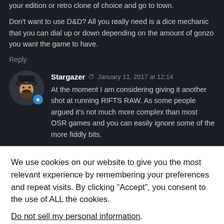your edition or retro clone of choice and go to town.
Don't want to use D&D? All you really need is a dice mechanic that you can dial up or down depending on the amount of gonzo you want the game to have.
Reply
Stargazer  January 11, 2017 at 12:14
[Figure (illustration): Avatar of user Stargazer showing a cartoon illustration of a bearded man in a hat, with a blue star badge]
At the moment I am considering giving it another shot at running RIFTS RAW. As some people argued it's not much more complex than most OSR games and you can easily ignore some of the more fiddly bits.
We use cookies on our website to give you the most relevant experience by remembering your preferences and repeat visits. By clicking “Accept”, you consent to the use of ALL the cookies.
Do not sell my personal information.